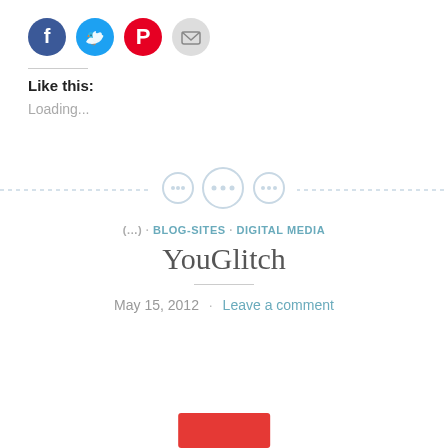[Figure (other): Social share buttons: Facebook (blue circle), Twitter (light blue circle), Pinterest (red circle), Email (gray circle)]
Like this:
Loading...
[Figure (other): Decorative dashed horizontal divider with three button-like circle icons in the center]
(...) · BLOG-SITES · DIGITAL MEDIA
YouGlitch
May 15, 2012 · Leave a comment